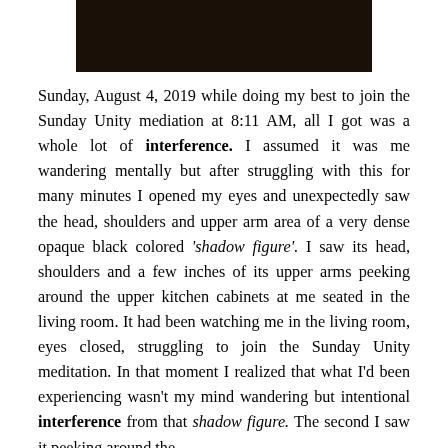[Figure (photo): Dark/black image strip showing a faint figure or object against a very dark background, cropped at top of page]
Sunday, August 4, 2019 while doing my best to join the Sunday Unity mediation at 8:11 AM, all I got was a whole lot of interference. I assumed it was me wandering mentally but after struggling with this for many minutes I opened my eyes and unexpectedly saw the head, shoulders and upper arm area of a very dense opaque black colored 'shadow figure'. I saw its head, shoulders and a few inches of its upper arms peeking around the upper kitchen cabinets at me seated in the living room. It had been watching me in the living room, eyes closed, struggling to join the Sunday Unity meditation. In that moment I realized that what I'd been experiencing wasn't my mind wandering but intentional interference from that shadow figure. The second I saw it peeking around the